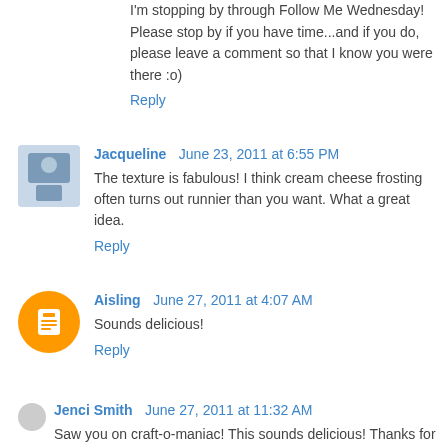I'm stopping by through Follow Me Wednesday! Please stop by if you have time...and if you do, please leave a comment so that I know you were there :o)
Reply
Jacqueline  June 23, 2011 at 6:55 PM
The texture is fabulous! I think cream cheese frosting often turns out runnier than you want. What a great idea.
Reply
Aisling  June 27, 2011 at 4:07 AM
Sounds delicious!
Reply
Jenci Smith  June 27, 2011 at 11:32 AM
Saw you on craft-o-maniac! This sounds delicious! Thanks for sharing. jenciinsideout.blogspot.com